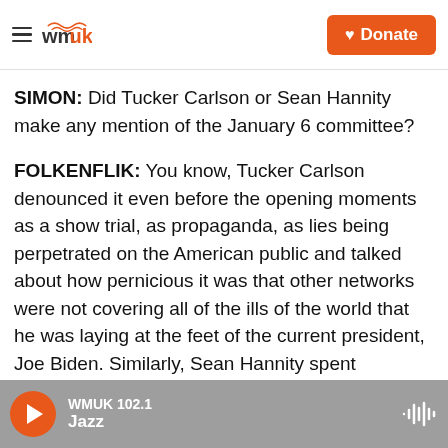WMUK - Donate
SIMON: Did Tucker Carlson or Sean Hannity make any mention of the January 6 committee?
FOLKENFLIK: You know, Tucker Carlson denounced it even before the opening moments as a show trial, as propaganda, as lies being perpetrated on the American public and talked about how pernicious it was that other networks were not covering all of the ills of the world that he was laying at the feet of the current president, Joe Biden. Similarly, Sean Hannity spent significant time minimizing the severity and significance of what was seen. You know, at one point, I think
WMUK 102.1 Jazz